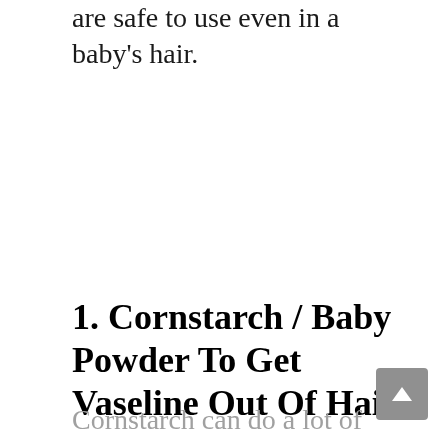are safe to use even in a baby's hair.
1. Cornstarch / Baby Powder To Get Vaseline Out Of Hair
Cornstarch can do a lot of things and this includes getting Vaseline out of your hair.